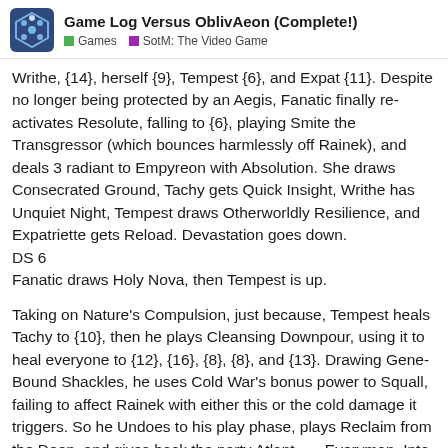Game Log Versus OblivAeon (Complete!) | Games | SotM: The Video Game
Writhe, {14}, herself {9}, Tempest {6}, and Expat {11}. Despite no longer being protected by an Aegis, Fanatic finally reactivates Resolute, falling to {6}, playing Smite the Transgressor (which bounces harmlessly off Rainek), and deals 3 radiant to Empyreon with Absolution. She draws Consecrated Ground, Tachy gets Quick Insight, Writhe has Unquiet Night, Tempest draws Otherworldly Resilience, and Expatriette gets Reload. Devastation goes down.
DS 6
Fanatic draws Holy Nova, then Tempest is up.
Taking on Nature's Compulsion, just because, Tempest heals Tachy to {10}, then he plays Cleansing Downpour, using it to heal everyone to {12}, {16}, {8}, {8}, and {13}. Drawing Gene-Bound Shackles, he uses Cold War's bonus power to Squall, failing to affect Rainek with either this or the cold damage it triggers. So he Undoes to his play phase, plays Reclaim from the Deep, and gives back the party Atlan... Everyman, Into the Stratosphere, and Ho... Expatriette gets Expatriette back {h...
5 / 7